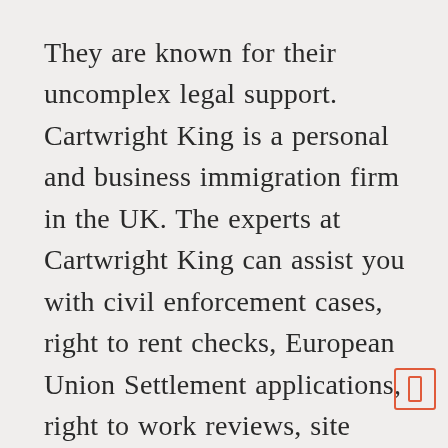They are known for their uncomplex legal support. Cartwright King is a personal and business immigration firm in the UK. The experts at Cartwright King can assist you with civil enforcement cases, right to rent checks, European Union Settlement applications, right to work reviews, site visits or business premises, and various other Home office compliances.
They offer you first initial consultation over the telephone, and then based upon your experience, you can connect with them for